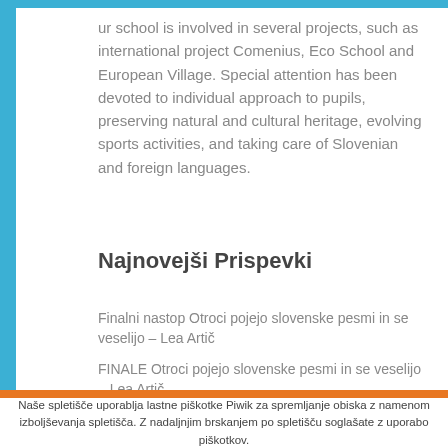ur school is involved in several projects, such as international project Comenius, Eco School and European Village. Special attention has been devoted to individual approach to pupils, preserving natural and cultural heritage, evolving sports activities, and taking care of Slovenian and foreign languages.
Najnovejši Prispevki
Finalni nastop Otroci pojejo slovenske pesmi in se veselijo – Lea Artič
FINALE Otroci pojejo slovenske pesmi in se veselijo – Lea Artič
OTROCI POJEJO SLOVENSKE PESMI – POLFINALE
Naše spletišče uporablja lastne piškotke Piwik za spremljanje obiska z namenom izboljševanja spletišča. Z nadaljnjim brskanjem po spletišču soglašate z uporabo piškotkov.